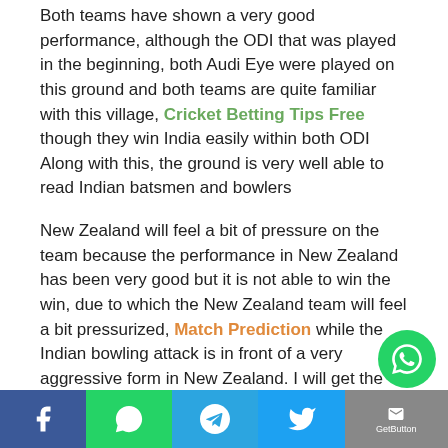Both teams have shown a very good performance, although the ODI that was played in the beginning, both Audi Eye were played on this ground and both teams are quite familiar with this village, Cricket Betting Tips Free though they win India easily within both ODI Along with this, the ground is very well able to read Indian batsmen and bowlers
New Zealand will feel a bit of pressure on the team because the performance in New Zealand has been very good but it is not able to win the win, due to which the New Zealand team will feel a bit pressurized, Match Prediction while the Indian bowling attack is in front of a very aggressive form in New Zealand. I will get the match to strike
Both teams have come out of one match against each other, along with this match is a final match that will